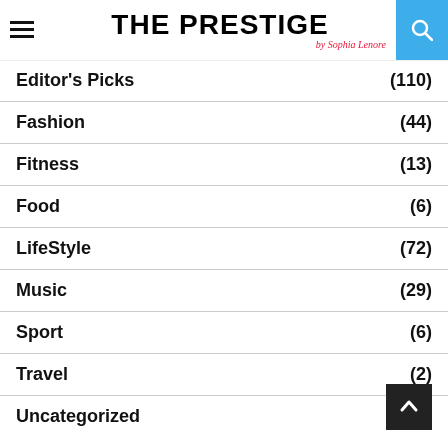THE PRESTIGE by Sophia Lenore
Editor's Picks (110)
Fashion (44)
Fitness (13)
Food (6)
LifeStyle (72)
Music (29)
Sport (6)
Travel (2)
Uncategorized (2)